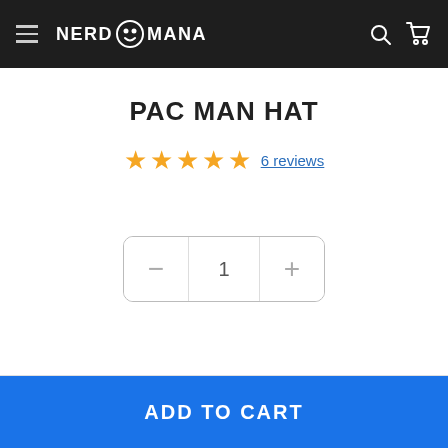NERD MANA
PAC MAN HAT
★★★★★ 6 reviews
[Figure (other): Quantity selector control with minus button, value 1, and plus button]
ADD TO CART